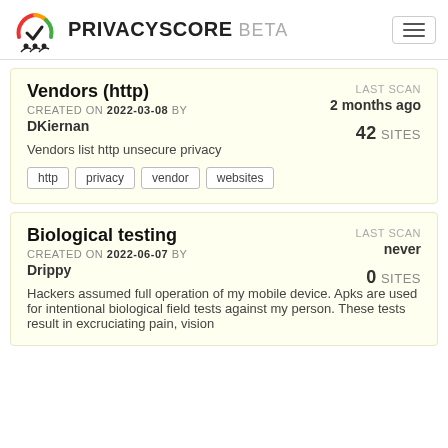PRIVACYSCORE BETA
Vendors (http)
CREATED ON 2022-03-08 BY DKiernan — LAST SCAN 2 months ago — 42 SITES
Vendors list http unsecure privacy
http
privacy
vendor
websites
Biological testing
CREATED ON 2022-06-07 BY Drippy — LAST SCAN never — 0 SITES
Hackers assumed full operation of my mobile device. Apks are used for intentional biological field tests against my person. These tests result in excruciating pain, vision